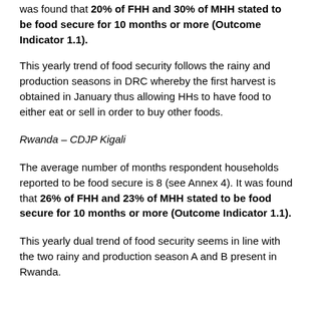was found that 20% of FHH and 30% of MHH stated to be food secure for 10 months or more (Outcome Indicator 1.1).
This yearly trend of food security follows the rainy and production seasons in DRC whereby the first harvest is obtained in January thus allowing HHs to have food to either eat or sell in order to buy other foods.
Rwanda – CDJP Kigali
The average number of months respondent households reported to be food secure is 8 (see Annex 4). It was found that 26% of FHH and 23% of MHH stated to be food secure for 10 months or more (Outcome Indicator 1.1).
This yearly dual trend of food security seems in line with the two rainy and production season A and B present in Rwanda.